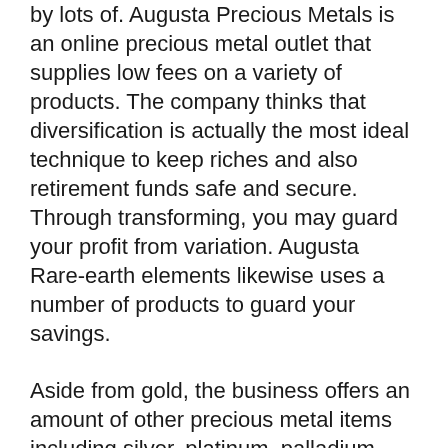by lots of. Augusta Precious Metals is an online precious metal outlet that supplies low fees on a variety of products. The company thinks that diversification is actually the most ideal technique to keep riches and also retirement funds safe and secure. Through transforming, you may guard your profit from variation. Augusta Rare-earth elements likewise uses a number of products to guard your savings.
Aside from gold, the business offers an amount of other precious metal items including silver, platinum, palladium, ruthenium, iridium, rhodium, osmium, iridium, yttrium, titanium, tungsten, and lots of others. This firm offers budget-friendly options for each one of your investments.